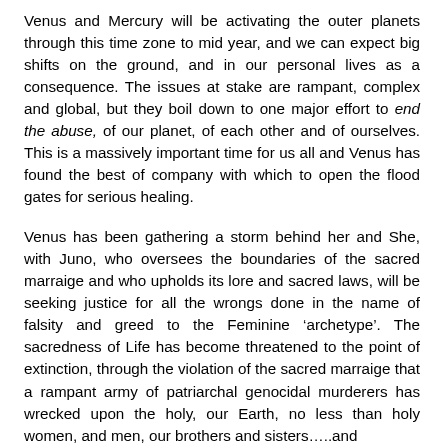Venus and Mercury will be activating the outer planets through this time zone to mid year, and we can expect big shifts on the ground, and in our personal lives as a consequence. The issues at stake are rampant, complex and global, but they boil down to one major effort to end the abuse, of our planet, of each other and of ourselves. This is a massively important time for us all and Venus has found the best of company with which to open the flood gates for serious healing.
Venus has been gathering a storm behind her and She, with Juno, who oversees the boundaries of the sacred marraige and who upholds its lore and sacred laws, will be seeking justice for all the wrongs done in the name of falsity and greed to the Feminine ‘archetype’. The sacredness of Life has become threatened to the point of extinction, through the violation of the sacred marraige that a rampant army of patriarchal genocidal murderers has wrecked upon the holy, our Earth, no less than holy women, and men, our brothers and sisters…..and